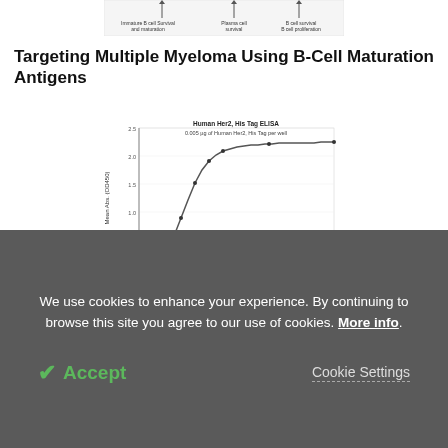[Figure (other): Partial top strip showing bar chart categories: Immature B cell Survival and maturation, Plasma cell survival, B cell survival B cell proliferation]
Targeting Multiple Myeloma Using B-Cell Maturation Antigens
[Figure (continuous-plot): Dose-response curve (sigmoidal) for Human Her2, His Tag ELISA. 0.005 µg of Human Her2, His Tag per well. X-axis: Trastuzumab Con. (ng/mL), Y-axis: Mean Abs. (OD450). Curve rises steeply from near 0 at low concentrations to plateau ~2.5 at high concentrations.]
Targets for Biosimilar Drugs
[Figure (photo): Partial red/pink colored image at bottom of page content area, partially obscured by cookie banner]
We use cookies to enhance your experience. By continuing to browse this site you agree to our use of cookies. More info.
Accept
Cookie Settings